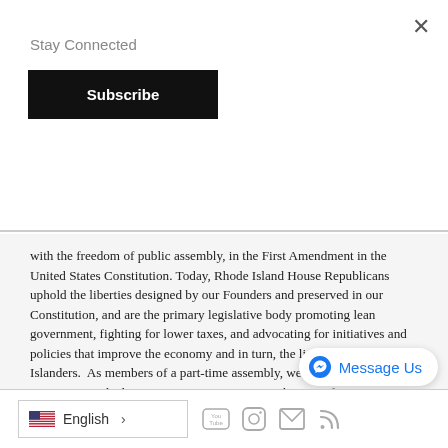Stay Connected
Subscribe
with the freedom of public assembly, in the First Amendment in the United States Constitution. Today, Rhode Island House Republicans uphold the liberties designed by our Founders and preserved in our Constitution, and are the primary legislative body promoting lean government, fighting for lower taxes, and advocating for initiatives and policies that improve the economy and in turn, the lives of Rhode Islanders.  As members of a part-time assembly, we are small business owners, retired educators, community activists, lawyers, farmers, military service veterans, volunteers, former local officials, retired social workers, coaches, musicians, churchgoers and board directors -- bringing these community engagement and professional experiences to our work, on your behalf, at the Rhode Island State House.
English
Message Us